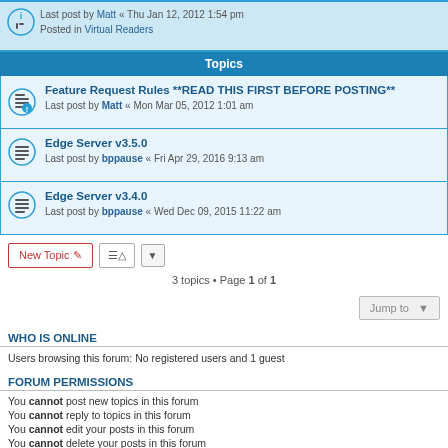Edge Server v1.5 - Last post by Matt « Thu Jan 12, 2012 1:54 pm - Posted in Virtual Readers
Topics
Feature Request Rules **READ THIS FIRST BEFORE POSTING** - Last post by Matt « Mon Mar 05, 2012 1:01 am
Edge Server v3.5.0 - Last post by bppause « Fri Apr 29, 2016 9:13 am
Edge Server v3.4.0 - Last post by bppause « Wed Dec 09, 2015 11:22 am
3 topics • Page 1 of 1
WHO IS ONLINE
Users browsing this forum: No registered users and 1 guest
FORUM PERMISSIONS
You cannot post new topics in this forum
You cannot reply to topics in this forum
You cannot edit your posts in this forum
You cannot delete your posts in this forum
You cannot post attachments in this forum